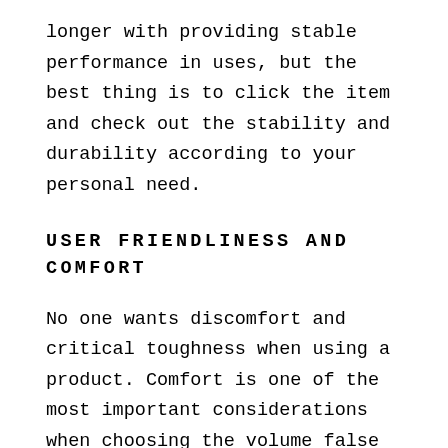longer with providing stable performance in uses, but the best thing is to click the item and check out the stability and durability according to your personal need.
USER FRIENDLINESS AND COMFORT
No one wants discomfort and critical toughness when using a product. Comfort is one of the most important considerations when choosing the volume false lashes. Most of the products that are selected in this